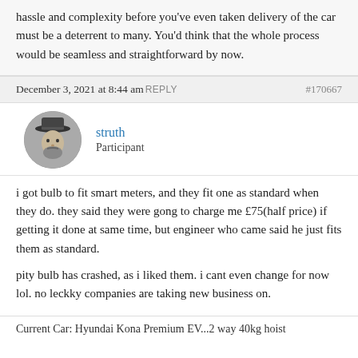hassle and complexity before you've even taken delivery of the car must be a deterrent to many. You'd think that the whole process would be seamless and straightforward by now.
December 3, 2021 at 8:44 am REPLY #170667
[Figure (photo): Circular avatar photo of user 'struth', black and white portrait of a person wearing a hat]
struth
Participant
i got bulb to fit smart meters, and they fit one as standard when they do. they said they were gong to charge me £75(half price) if getting it done at same time, but engineer who came said he just fits them as standard.

pity bulb has crashed, as i liked them. i cant even change for now lol. no leckky companies are taking new business on.
Current Car: Hyundai Kona Premium EV...2 way 40kg hoist